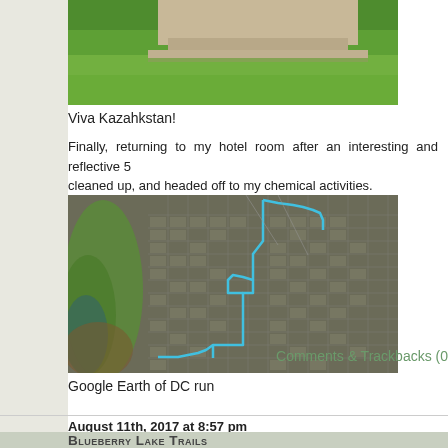[Figure (photo): Partial photo of grass and stone monument/pedestal, green lawn visible]
Viva Kazahkstan!
Finally, returning to my hotel room after an interesting and reflective 5 cleaned up, and headed off to my chemical activities.
[Figure (map): Google Earth aerial/satellite view of Washington DC showing a running route traced in blue lines through city streets]
Google Earth of DC run
Comments & Trackbacks (0
August 11th, 2017 at 8:57 pm
Blueberry Lake Trails
Posted by Jeff Ryors in Running